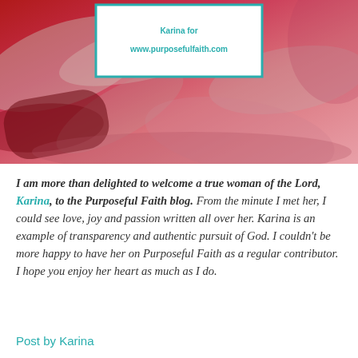[Figure (photo): Abstract red and pink textured painting background with a white box overlay showing author attribution: 'Karina for www.purposefulfaith.com' in teal/cyan bold text with teal border]
I am more than delighted to welcome a true woman of the Lord, Karina, to the Purposeful Faith blog. From the minute I met her, I could see love, joy and passion written all over her. Karina is an example of transparency and authentic pursuit of God. I couldn't be more happy to have her on Purposeful Faith as a regular contributor. I hope you enjoy her heart as much as I do.
Post by Karina